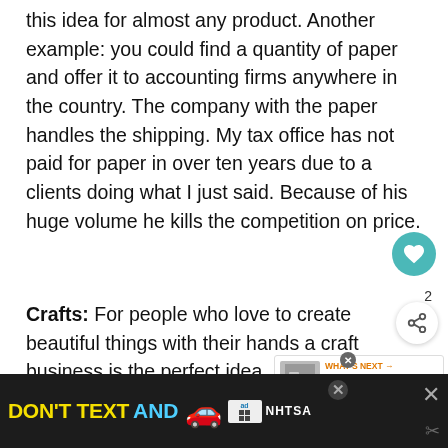this idea for almost any product. Another example: you could find a quantity of paper and offer it to accounting firms anywhere in the country. The company with the paper handles the shipping. My tax office has not paid for paper in over ten years due to a clients doing what I just said. Because of his huge volume he kills the competition on price.
Crafts: For people who love to create beautiful things with their hands a craft business is the perfect idea. One of my clients provides fabric to people for crafts and earns over $300,000 a year. The abundance of craft fairs, Etsy, eBay and